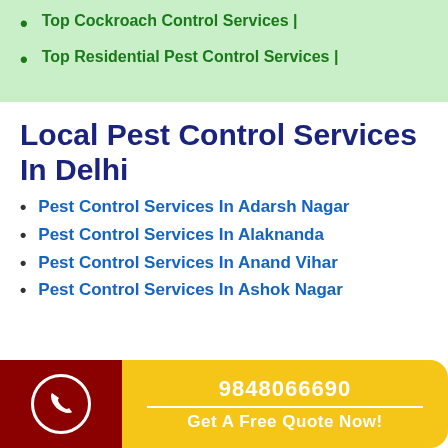Top Cockroach Control Services |
Top Residential Pest Control Services |
Local Pest Control Services In Delhi
Pest Control Services In Adarsh Nagar
Pest Control Services In Alaknanda
Pest Control Services In Anand Vihar
Pest Control Services In Ashok Nagar
9848066690
Get A Free Quote Now!